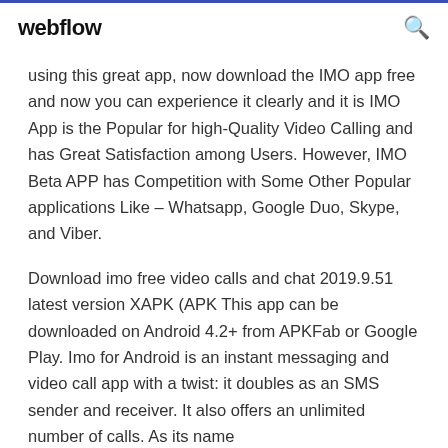webflow
using this great app, now download the IMO app free and now you can experience it clearly and it is IMO App is the Popular for high-Quality Video Calling and has Great Satisfaction among Users. However, IMO Beta APP has Competition with Some Other Popular applications Like – Whatsapp, Google Duo, Skype, and Viber.
Download imo free video calls and chat 2019.9.51 latest version XAPK (APK This app can be downloaded on Android 4.2+ from APKFab or Google Play. Imo for Android is an instant messaging and video call app with a twist: it doubles as an SMS sender and receiver. It also offers an unlimited number of calls. As its name